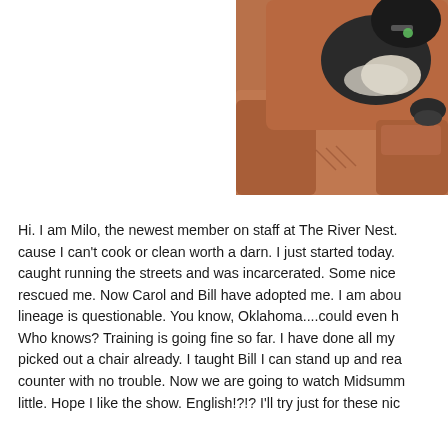[Figure (photo): A black and white dog (appears to be a Boston Terrier or similar breed) sleeping/resting on a brown/rust-colored recliner chair. The dog is wearing what appears to be a light-colored shirt or garment and has a green tag on its collar.]
Hi. I am Milo, the newest member on staff at The River Nest. cause I can't cook or clean worth a darn. I just started today. caught running the streets and was incarcerated. Some nice rescued me. Now Carol and Bill have adopted me. I am abou lineage is questionable. You know, Oklahoma....could even h Who knows? Training is going fine so far. I have done all my picked out a chair already. I taught Bill I can stand up and rea counter with no trouble. Now we are going to watch Midsumm little. Hope I like the show. English!?!? I'll try just for these nic